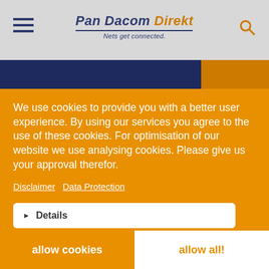Pan Dacom Direkt – Nets get connected.
We use cookies to provide you with a better user experience. By using our services you agree to the use of these cookies. For optimisation of our website we use analysing cookies. Please give us your approval therefor.
Disclaimer  Data Protection
▶  Details
necessary   marketing
allow cookies    allow all!